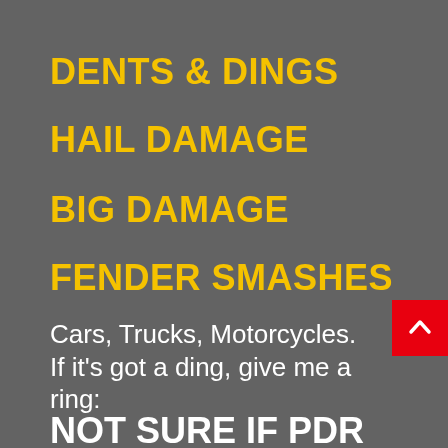DENTS & DINGS
HAIL DAMAGE
BIG DAMAGE
FENDER SMASHES
Cars, Trucks, Motorcycles. If it’s got a ding, give me a ring:
NOT SURE IF PDR